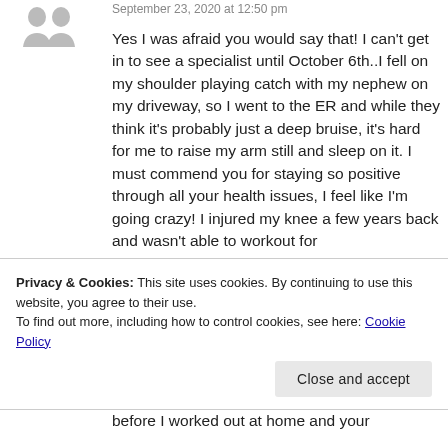September 23, 2020 at 12:50 pm
Yes I was afraid you would say that! I can't get in to see a specialist until October 6th..I fell on my shoulder playing catch with my nephew on my driveway, so I went to the ER and while they think it's probably just a deep bruise, it's hard for me to raise my arm still and sleep on it. I must commend you for staying so positive through all your health issues, I feel like I'm going crazy! I injured my knee a few years back and wasn't able to workout for
Privacy & Cookies: This site uses cookies. By continuing to use this website, you agree to their use.
To find out more, including how to control cookies, see here: Cookie Policy
before I worked out at home and your